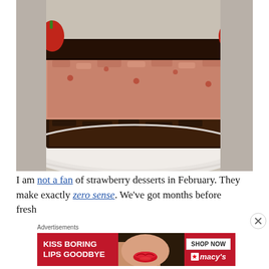[Figure (photo): A slice of layered chocolate and strawberry mousse cake with a thick chocolate ganache top, strawberry-cream filling, and a dense chocolate crust, served on a white plate. Fresh strawberries are visible in the background.]
I am not a fan of strawberry desserts in February. They make exactly zero sense. We've got months before fresh
[Figure (photo): Advertisement banner: 'KISS BORING LIPS GOODBYE' with a woman's face showing red lips, and 'SHOP NOW' button with Macy's star logo on a dark red background.]